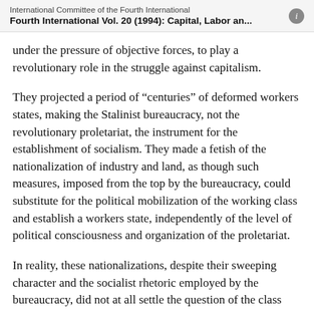International Committee of the Fourth International
Fourth International Vol. 20 (1994): Capital, Labor an...
under the pressure of objective forces, to play a revolutionary role in the struggle against capitalism.
They projected a period of “centuries” of deformed workers states, making the Stalinist bureaucracy, not the revolutionary proletariat, the instrument for the establishment of socialism. They made a fetish of the nationalization of industry and land, as though such measures, imposed from the top by the bureaucracy, could substitute for the political mobilization of the working class and establish a workers state, independently of the level of political consciousness and organization of the proletariat.
In reality, these nationalizations, despite their sweeping character and the socialist rhetoric employed by the bureaucracy, did not at all settle the question of the class